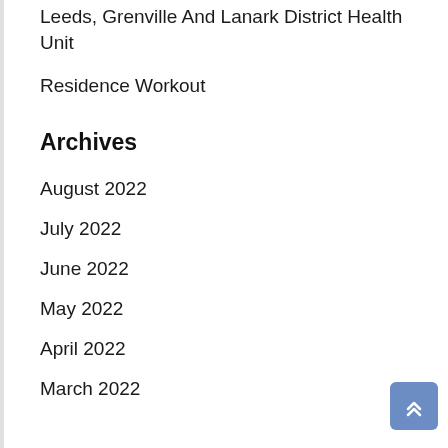Leeds, Grenville And Lanark District Health Unit
Residence Workout
Archives
August 2022
July 2022
June 2022
May 2022
April 2022
March 2022